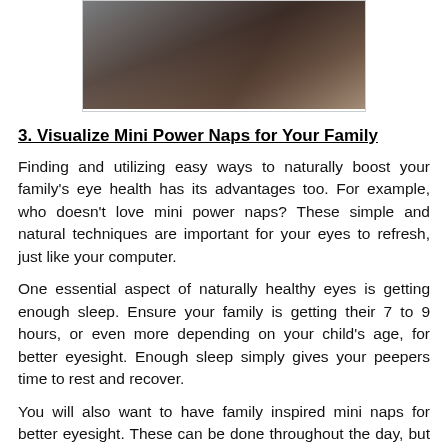[Figure (photo): A person (appears to be a parent and child) sleeping or resting together, dark and warm-toned photograph.]
3. Visualize Mini Power Naps for Your Family
Finding and utilizing easy ways to naturally boost your family’s eye health has its advantages too. For example, who doesn’t love mini power naps? These simple and natural techniques are important for your eyes to refresh, just like your computer.
One essential aspect of naturally healthy eyes is getting enough sleep. Ensure your family is getting their 7 to 9 hours, or even more depending on your child's age, for better eyesight. Enough sleep simply gives your peepers time to rest and recover.
You will also want to have family inspired mini naps for better eyesight. These can be done throughout the day, but may require some kid wrangling. For your eye health and a mid